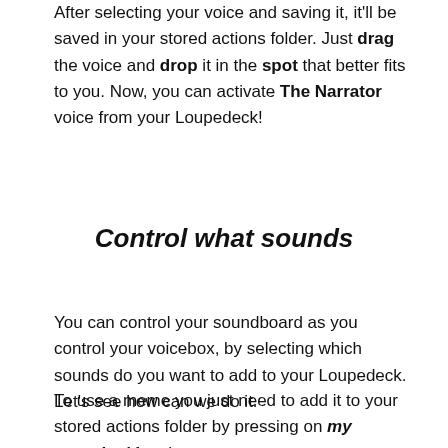After selecting your voice and saving it, it'll be saved in your stored actions folder. Just drag the voice and drop it in the spot that better fits to you. Now, you can activate The Narrator voice from your Loupedeck!
Control what sounds
You can control your soundboard as you control your voicebox, by selecting which sounds do you want to add to your Loupedeck. Let's see how can we do it.
To use a meme you just need to add it to your stored actions folder by pressing on my sounds. After that, a new menu